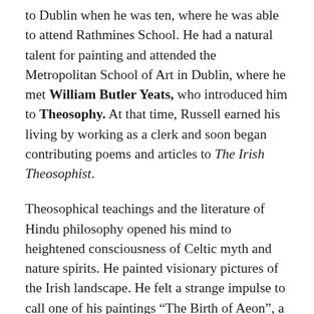to Dublin when he was ten, where he was able to attend Rathmines School. He had a natural talent for painting and attended the Metropolitan School of Art in Dublin, where he met William Butler Yeats, who introduced him to Theosophy. At that time, Russell earned his living by working as a clerk and soon began contributing poems and articles to The Irish Theosophist.
Theosophical teachings and the literature of Hindu philosophy opened his mind to heightened consciousness of Celtic myth and nature spirits. He painted visionary pictures of the Irish landscape. He felt a strange impulse to call one of his paintings “The Birth of Aeon”, a Gnostic concept, and signed one of his articles “AEON.” A proof reader rendered this as “AE?” and thereafter Russell used the initials for his poems.
In 1894, he allowed some of his poems to be published